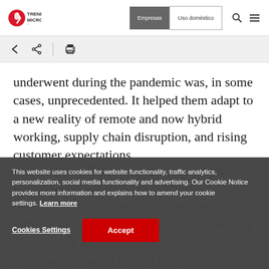Trend Micro | Empresas | Uso doméstico
[Figure (screenshot): Trend Micro logo with red circular icon and TREND MICRO text]
underwent during the pandemic was, in some cases, unprecedented. It helped them adapt to a new reality of remote and now hybrid working, supply chain disruption, and rising customer expectations. The challenge is that these investments in digital transformation resources are now creating a complex, difficult to manage estate. In-house teams are drowning in new attack techniques and cloud provider features. This can lead to misconfigurations that open the door to hackers.
This website uses cookies for website functionality, traffic analytics, personalization, social media functionality and advertising. Our Cookie Notice provides more information and explains how to amend your cookie settings. Learn more